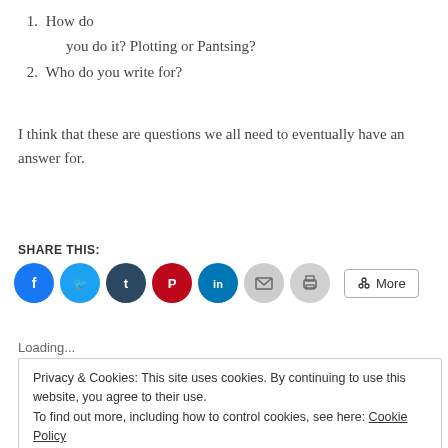1. How do you do it? Plotting or Pantsing?
2. Who do you write for?
I think that these are questions we all need to eventually have an answer for.
SHARE THIS:
[Figure (infographic): Row of social share buttons: Facebook (blue circle), Twitter (light blue circle), Tumblr (dark blue circle), Pinterest (red circle), LinkedIn (teal circle), Email (gray circle), Print (gray circle), and a More button with share icon.]
Loading...
Privacy & Cookies: This site uses cookies. By continuing to use this website, you agree to their use.
To find out more, including how to control cookies, see here: Cookie Policy
Close and accept